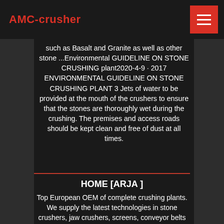AMC-crusher
such as Basalt and Granite as well as other stone ...Environmental GUIDELINE ON STONE CRUSHING plant2020-4-9 · 2017 ENVIRONMENTAL GUIDELINE ON STONE CRUSHING PLANT 3 Jets of water to be provided at the mouth of the crushers to ensure that the stones are thoroughly wet during the crushing. The premises and access roads should be kept clean and free of dust at all times.
HOME [ARJA ]
Top European OEM of complete crushing plants. We supply the latest technologies in stone crushers, jaw crushers, screens, conveyor belts and washing plants, either in static, modular or mobile format. Suitable for aggregates, quarries, mining and